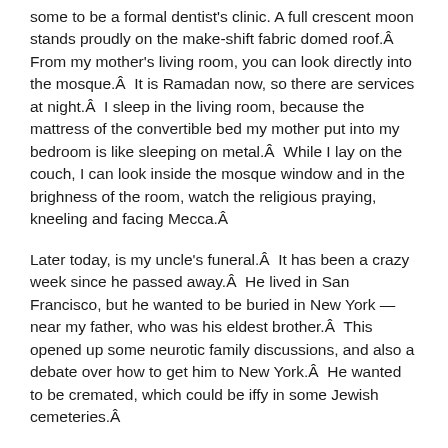some to be a formal dentist's clinic. A full crescent moon stands proudly on the make-shift fabric domed roof.Â  From my mother's living room, you can look directly into the mosque.Â  It is Ramadan now, so there are services at night.Â  I sleep in the living room, because the mattress of the convertible bed my mother put into my bedroom is like sleeping on metal.Â  While I lay on the couch, I can look inside the mosque window and in the brighness of the room, watch the religious praying, kneeling and facing Mecca.Â
Later today, is my uncle's funeral.Â  It has been a crazy week since he passed away.Â  He lived in San Francisco, but he wanted to be buried in New York — near my father, who was his eldest brother.Â  This opened up some neurotic family discussions, and also a debate over how to get him to New York.Â  He wanted to be cremated, which could be iffy in some Jewish cemeteries.Â